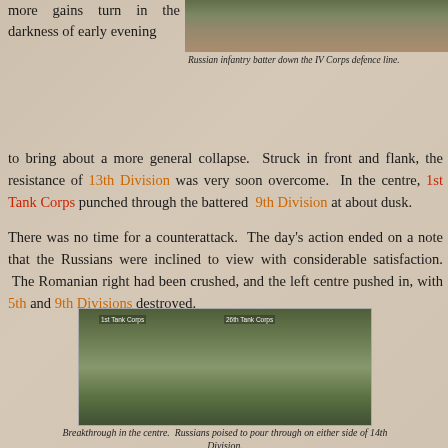[Figure (photo): Top photograph showing Russian infantry battering down the IV Corps defence line — wargame miniatures scene]
Russian infantry batter down the IV Corps defence line.
more gains turn in the darkness of early evening to bring about a more general collapse. Struck in front and flank, the resistance of 13th Division was very soon overcome. In the centre, 1st Tank Corps punched through the battered 9th Division at about dusk.
There was no time for a counterattack. The day's action ended on a note that the Russians were inclined to view with considerable satisfaction. The Romanian right had been crushed, and the left centre pushed in, with 5th and 9th Divisions destroyed.
[Figure (photo): Bottom photograph showing breakthrough in the centre with labels '1st Tank Corps' and '26th Tank Corps' — wargame miniatures scene]
Breakthrough in the centre. Russians poised to pour through on either side of 14th Division.